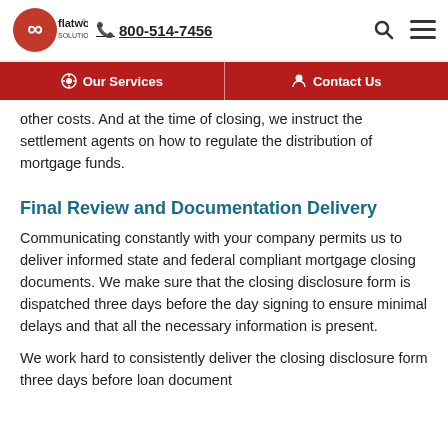flatworld solutions | 800-514-7456
Our Services | Contact Us
other costs. And at the time of closing, we instruct the settlement agents on how to regulate the distribution of mortgage funds.
Final Review and Documentation Delivery
Communicating constantly with your company permits us to deliver informed state and federal compliant mortgage closing documents. We make sure that the closing disclosure form is dispatched three days before the day signing to ensure minimal delays and that all the necessary information is present.
We work hard to consistently deliver the closing disclosure form three days before loan document